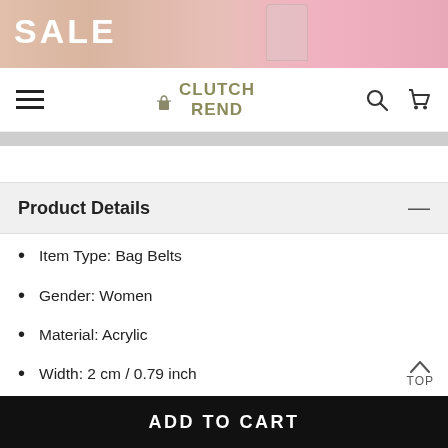[Figure (photo): Sale banner with pink/peach background, 'SALE' text in white on left, fashion model with handbag on right]
CLUTCH REND — navigation bar with hamburger menu, logo, search and cart icons
Product Details
Item Type: Bag Belts
Gender: Women
Material: Acrylic
Width: 2 cm / 0.79 inch
Length: 38-43 cm / 14.96-16.93 inch
ADD TO CART